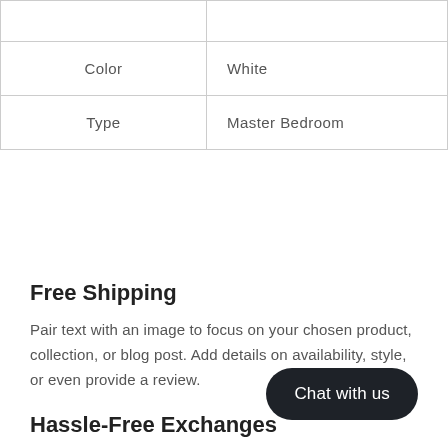|  |  |
| Color | White |
| Type | Master Bedroom |
Free Shipping
Pair text with an image to focus on your chosen product, collection, or blog post. Add details on availability, style, or even provide a review.
Hassle-Free Exchanges
Pair text with an image to focus on your collection, or blog post. Add details on availability, style, or